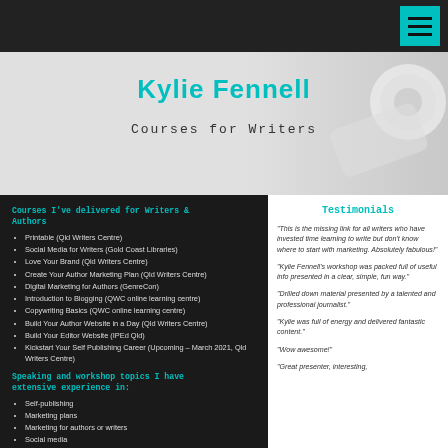Navigation bar with hamburger menu
Kylie Fennell
Courses for Writers
Courses I've delivered for Writers & Authors
Printable (Qld Writers Centre)
Social Media for Writers (Gold Coast Libraries)
Love Your Brand (Qld Writers Centre)
Create Your Author Marketing Plan (Qld Writers Centre)
Digital Marketing for Authors (GenreCon)
Introduction to Blogging (QWC online learning centre)
Copywriting Basics (QWC online learning centre)
Build Your Author Website in a Day (Qld Writers Centre)
Build Your Editor Website (IPEd Qld)
Kickstart Your Self Publishing Career (Upcoming – March 2021, Qld Writers Centre)
Speaking and workshop topics I have extensive experience in:
Self-publishing
Marketing plans
Marketing for authors or writers
Social media
SEO content writing
Blog writing
Testimonials
"This is the missing link for all writers who have invested time learning to write but don't know where to start with marketing. Absolutely fabulous!"
"Kylie Fennell's workshop was packed full of useful info presented in a clear, simple, fun way."
"Drilled down material presented by a talented and professional journalist."
"Kylie was full of energy and delivered fantastic content."
"Wow awesome!"
"Great presenter, interesting,